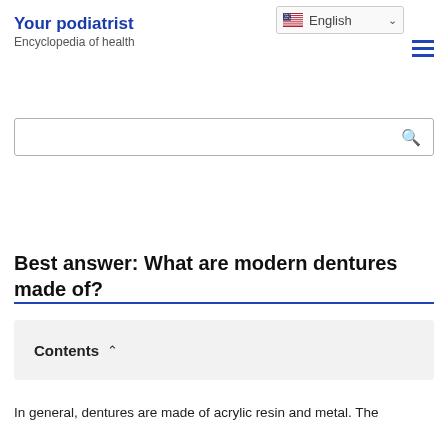Your podiatrist — Encyclopedia of health
[Figure (screenshot): Language selector dropdown showing English with US flag icon and chevron]
[Figure (other): Hamburger menu icon (three horizontal blue lines)]
[Figure (other): Search bar with magnifying glass icon]
Best answer: What are modern dentures made of?
Contents
In general, dentures are made of acrylic resin and metal. The